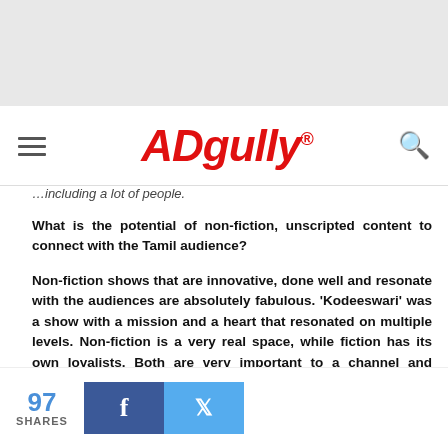ADgully
…including a lot of people.
What is the potential of non-fiction, unscripted content to connect with the Tamil audience?
Non-fiction shows that are innovative, done well and resonate with the audiences are absolutely fabulous. 'Kodeeswari' was a show with a mission and a heart that resonated on multiple levels. Non-fiction is a very real space, while fiction has its own loyalists. Both are very important to a channel and complement each other in such a way that the viewer has a palette to choose from.
Did the show connect to a particular audience segment? What was the engagement via VOOT?
97 SHARES